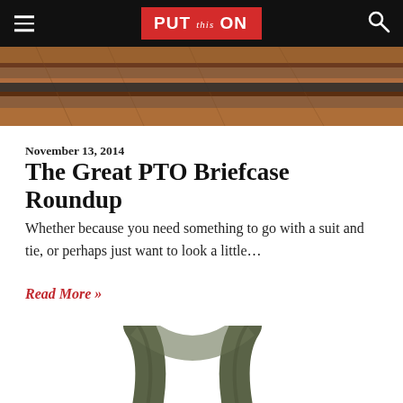PUT this ON
[Figure (photo): Close-up of wooden shelves or briefcases, warm brown tones]
November 13, 2014
The Great PTO Briefcase Roundup
Whether because you need something to go with a suit and tie, or perhaps just want to look a little...
Read More »
[Figure (photo): Olive green canvas bag straps on white background]